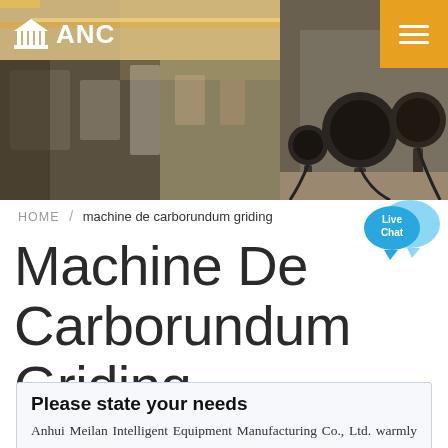ANC
[Figure (photo): Industrial factory floor with machinery and microphones in the foreground, hero banner image]
HOME / machine de carborundum griding
[Figure (illustration): Live Chat speech bubble icon in blue]
Machine De Carborundum Griding
Please state your needs
Anhui Meilan Intelligent Equipment Manufacturing Co., Ltd. warmly welcome all walks of life to contact us, we are waiting for your inquiry all day!